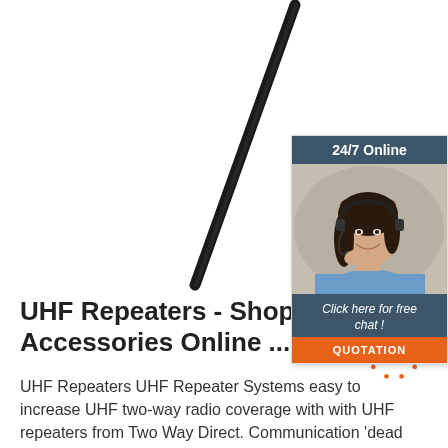[Figure (photo): Black antenna on white background, diagonal orientation pointing upper right]
[Figure (infographic): Chat widget with dark header '24/7 Online', photo of woman with headset, 'Click here for free chat!' text, and orange QUOTATION button]
UHF Repeaters - Shop For UHF Accessories Online ...
UHF Repeaters UHF Repeater Systems easy to increase UHF two-way radio coverage with with UHF repeaters from Two Way Direct. Communication 'dead spots' can happen occasionally—especially if you are using your two-way radios in remote locations.
[Figure (logo): Orange dotted circle TOP badge/watermark in bottom right area]